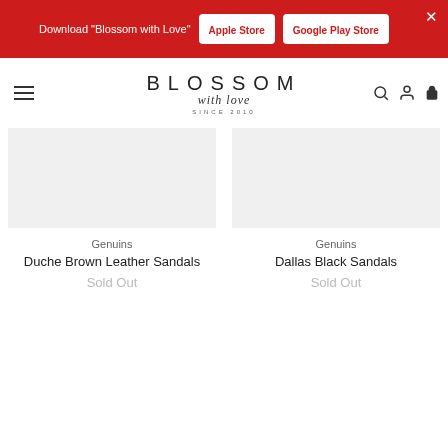Download "Blossom with Love" | Apple Store | Google Play Store
[Figure (logo): Blossom with Love logo - BLOSSOM in uppercase with 'with love' in script and SINCE 2010 below]
[Figure (photo): Product image placeholder for Genuins Duche Brown Leather Sandals]
Genuins
Duche Brown Leather Sandals
Sold Out
[Figure (photo): Product image placeholder for Genuins Dallas Black Sandals]
Genuins
Dallas Black Sandals
Sold Out